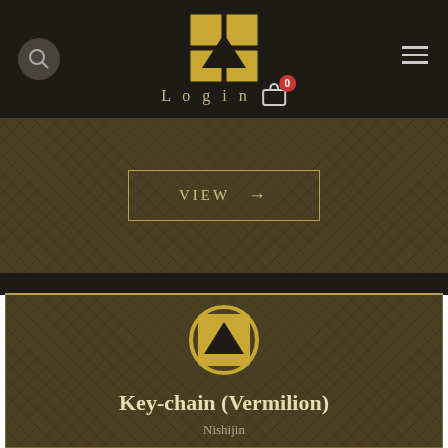[Figure (screenshot): Navigation bar with search icon, golden logo (four squares with triangle), Login text, cart icon with 0 badge, and hamburger menu]
VIEW →
[Figure (logo): Product icon: golden circle with golden logo inside]
Key-chain (Vermilion)
Nishijin